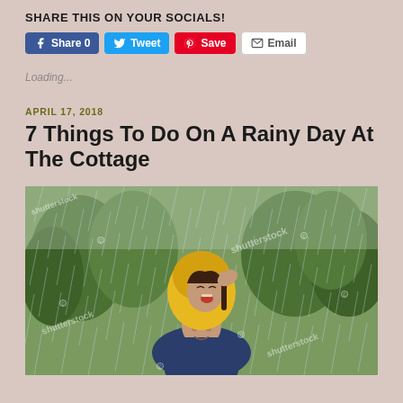SHARE THIS ON YOUR SOCIALS!
Share 0  Tweet  Save  Email
Loading...
APRIL 17, 2018
7 Things To Do On A Rainy Day At The Cottage
[Figure (photo): A laughing woman in a yellow rain jacket on the back of a man in a blue jacket, both in the rain with trees in the background. Shutterstock watermark visible.]